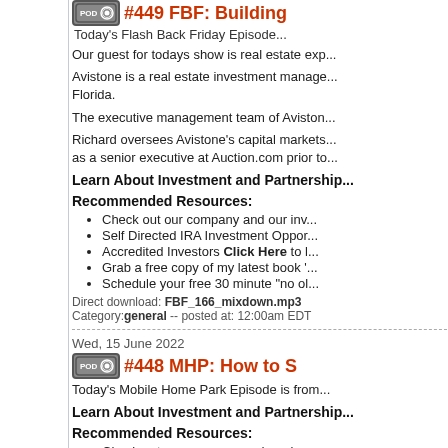#449 FBF: Building...
Today's Flash Back Friday Episode...
Our guest for todays show is real estate exp...
Avistone is a real estate investment manage... Florida.
The executive management team of Aviston...
Richard oversees Avistone's capital markets... as a senior executive at Auction.com prior to...
Learn About Investment and Partnership...
Recommended Resources:
Check out our company and our inv...
Self Directed IRA Investment Oppor...
Accredited Investors Click Here to l...
Grab a free copy of my latest book '...
Schedule your free 30 minute "no ol...
Direct download: FBF_166_mixdown.mp3
Category: general -- posted at: 12:00am EDT
Wed, 15 June 2022
#448 MHP: How to S...
Today's Mobile Home Park Episode is from...
Learn About Investment and Partnership...
Recommended Resources:
Check out our company and our inv...
Self Directed IRA Investment Oppor...